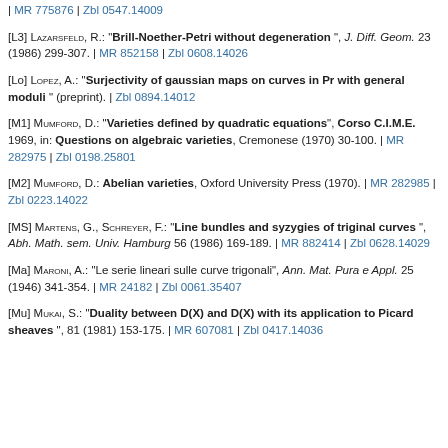| MR 775876 | Zbl 0547.14009
[L3] Lazarsfeld, R.: "Brill-Noether-Petri without degeneration", J. Diff. Geom. 23 (1986) 299-307. | MR 852158 | Zbl 0608.14026
[Lo] Lopez, A.: "Surjectivity of gaussian maps on curves in Pr with general moduli" (preprint). | Zbl 0894.14012
[M1] Mumford, D.: "Varieties defined by quadratic equations", Corso C.I.M.E. 1969, in: Questions on algebraic varieties, Cremonese (1970) 30-100. | MR 282975 | Zbl 0198.25801
[M2] Mumford, D.: Abelian varieties, Oxford University Press (1970). | MR 282985 | Zbl 0223.14022
[MS] Martens, G., Schreyer, F.: "Line bundles and syzygies of triginal curves", Abh. Math. sem. Univ. Hamburg 56 (1986) 169-189. | MR 882414 | Zbl 0628.14029
[Ma] Maroni, A.: "Le serie lineari sulle curve trigonali", Ann. Mat. Pura e Appl. 25 (1946) 341-354. | MR 24182 | Zbl 0061.35407
[Mu] Mukai, S.: "Duality between D(X) and D(X) with its application to Picard sheaves", 81 (1981) 153-175. | MR 607081 | Zbl 0417.14036